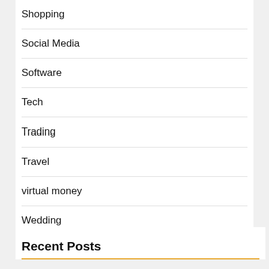Shopping
Social Media
Software
Tech
Trading
Travel
virtual money
Wedding
Recent Posts